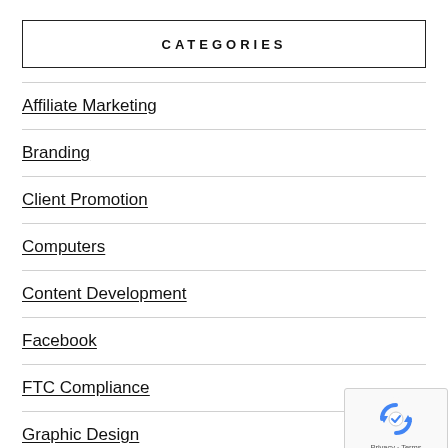CATEGORIES
Affiliate Marketing
Branding
Client Promotion
Computers
Content Development
Facebook
FTC Compliance
Graphic Design